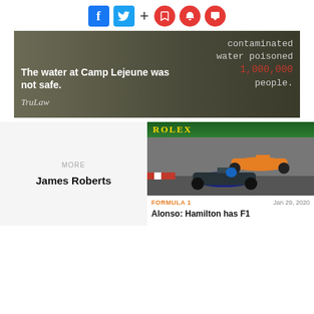[Figure (infographic): Social media icons: Facebook (blue), Twitter (blue), plus sign, and three red circular icons (bookmark, bell, chat)]
[Figure (photo): Advertisement banner for TruLaw about Camp Lejeune contaminated water with text overlay: 'The water at Camp Lejeune was not safe.' and 'contaminated water poisoned 1,000,000 people.' with TruLaw branding]
[Figure (photo): Formula 1 racing cars on track with Rolex signage banner at top, showing a Mercedes and McLaren car racing]
MORE
James Roberts
FORMULA 1
Jan 29, 2020
Alonso: Hamilton has F1